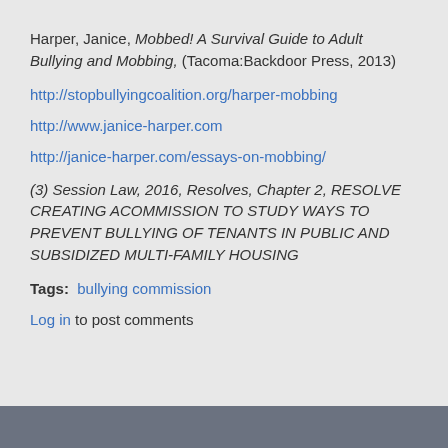Harper, Janice, Mobbed! A Survival Guide to Adult Bullying and Mobbing, (Tacoma:Backdoor Press, 2013)
http://stopbullyingcoalition.org/harper-mobbing
http://www.janice-harper.com
http://janice-harper.com/essays-on-mobbing/
(3) Session Law, 2016, Resolves, Chapter 2, RESOLVE CREATING ACOMMISSION TO STUDY WAYS TO PREVENT BULLYING OF TENANTS IN PUBLIC AND SUBSIDIZED MULTI-FAMILY HOUSING
Tags: bullying commission
Log in to post comments